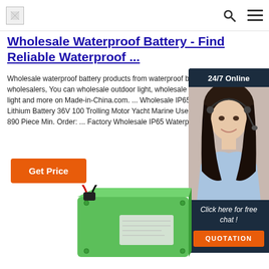Logo | Search | Menu
Wholesale Waterproof Battery - Find Reliable Waterproof ...
Wholesale waterproof battery products from waterproof battery wholesalers, You can wholesale outdoor light, wholesale waterproof light and more on Made-in-China.com. ... Wholesale IP65 Waterproof Lithium Battery 36V 100 Trolling Motor Yacht Marine Use. US $ 770-890 Piece Min. Order: ... Factory Wholesale IP65 Waterproof ...
[Figure (infographic): Chat widget showing 24/7 Online support with a woman wearing a headset, and a 'Click here for free chat!' message with a QUOTATION button]
Get Price
[Figure (photo): Green rectangular battery pack with red and black wires]